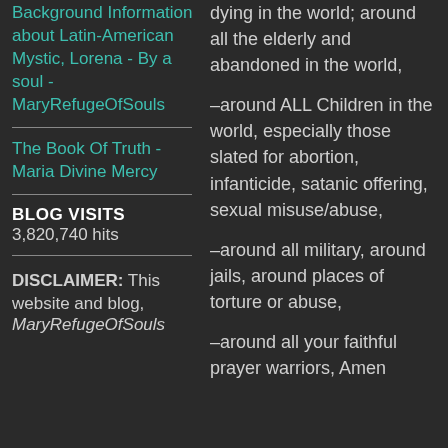Background Information about Latin-American Mystic, Lorena - By a soul - MaryRefugeOfSouls
The Book Of Truth - Maria Divine Mercy
BLOG VISITS
3,820,740 hits
DISCLAIMER: This website and blog, MaryRefugeOfSouls
dying in the world; around all the elderly and abandoned in the world,
–around ALL Children in the world, especially those slated for abortion, infanticide, satanic offering, sexual misuse/abuse,
–around all military, around jails, around places of torture or abuse,
–around all your faithful prayer warriors, Amen